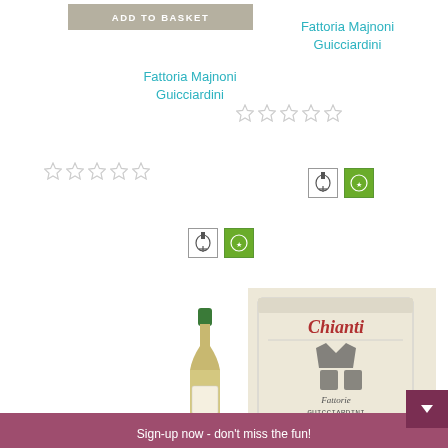ADD TO BASKET
Fattoria Majnoni Guicciardini
Fattoria Majnoni Guicciardini
[Figure (illustration): Five empty star rating (left product)]
[Figure (illustration): Five empty star rating (right product)]
[Figure (illustration): Wine bottle (white wine) and organic badge icons (left)]
[Figure (illustration): Organic badge icons (right)]
[Figure (photo): White wine bottle]
[Figure (photo): Chianti wine box]
Sign-up now - don't miss the fun!
Your Email address
Name
Country es IT
Subscribe now